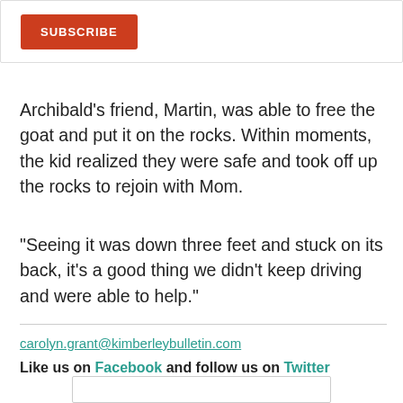[Figure (other): Subscribe button inside a bordered box]
Archibald’s friend, Martin, was able to free the goat and put it on the rocks. Within moments, the kid realized they were safe and took off up the rocks to rejoin with Mom.
“Seeing it was down three feet and stuck on its back, it’s a good thing we didn’t keep driving and were able to help.”
carolyn.grant@kimberleybulletin.com
Like us on Facebook and follow us on Twitter